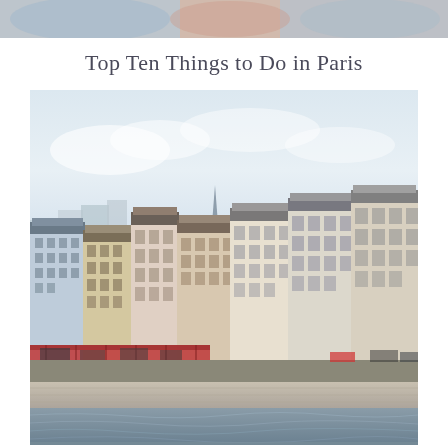[Figure (photo): Partial top strip showing a colorful scene, likely a previous page photo bleeding in at top]
Top Ten Things to Do in Paris
[Figure (photo): Photograph of Parisian buildings along the Seine riverbank. Tall Haussmann-style limestone apartment buildings with mansard roofs line the quay. Church spire visible in background. Red awnings at street level. River Seine in foreground with stone embankment wall. Overcast sky.]